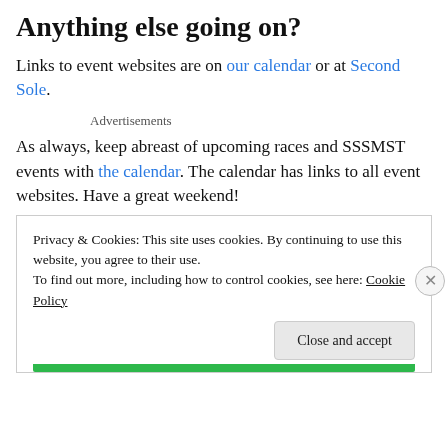Anything else going on?
Links to event websites are on our calendar or at Second Sole.
Advertisements
As always, keep abreast of upcoming races and SSSMST events with the calendar. The calendar has links to all event websites. Have a great weekend!
Privacy & Cookies: This site uses cookies. By continuing to use this website, you agree to their use.
To find out more, including how to control cookies, see here: Cookie Policy
Close and accept